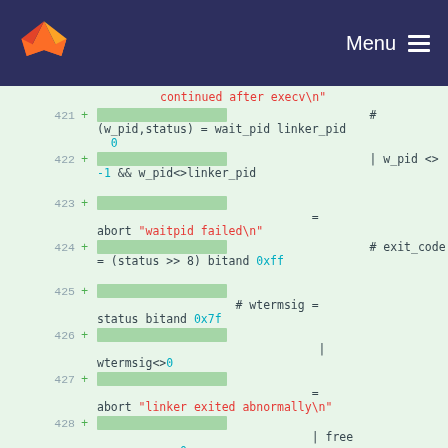Menu
[Figure (screenshot): GitLab-style code diff viewer showing lines 421-429 of a source file with green highlighted added lines in a dark navy header with logo and menu]
continued after execv\n"
421 + [green block] # (w_pid,status) = wait_pid linker_pid 0
422 + [green block] | w_pid <> -1 && w_pid<>linker_pid
423 + [green block] = abort "waitpid failed\n"
424 + [green block] # exit_code = (status >> 8) bitand 0xff
425 + [green block] # wtermsig = status bitand 0x7f
426 + [green block] | wtermsig<>0
427 + [green block] = abort "linker exited abnormally\n"
428 + [green block] | free args_memory<0
429 + [green block] = abort "free failed\n"